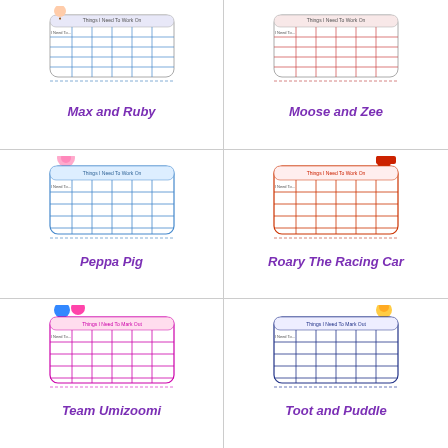[Figure (illustration): Max and Ruby themed behavior chart thumbnail]
Max and Ruby
[Figure (illustration): Moose and Zee themed behavior chart thumbnail]
Moose and Zee
[Figure (illustration): Peppa Pig themed behavior chart thumbnail]
Peppa Pig
[Figure (illustration): Roary The Racing Car themed behavior chart thumbnail]
Roary The Racing Car
[Figure (illustration): Team Umizoomi themed behavior chart thumbnail]
Team Umizoomi
[Figure (illustration): Toot and Puddle themed behavior chart thumbnail]
Toot and Puddle